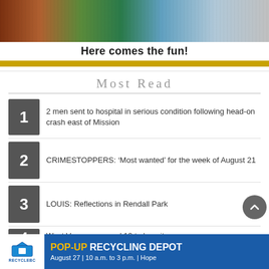[Figure (photo): Advertisement banner showing a fairground/carnival photo with colorful rides and text 'Here comes the fun!' with a gold bar at bottom]
Most Read
2 men sent to hospital in serious condition following head-on crash east of Mission
CRIMESTOPPERS: ‘Most wanted’ for the week of August 21
LOUIS: Reflections in Rendall Park
West V... ...d 10 to hospital (partial)
[Figure (infographic): RecycleBC advertisement: POP-UP RECYCLING DEPOT, August 27 | 10 a.m. to 3 p.m. | Hope]